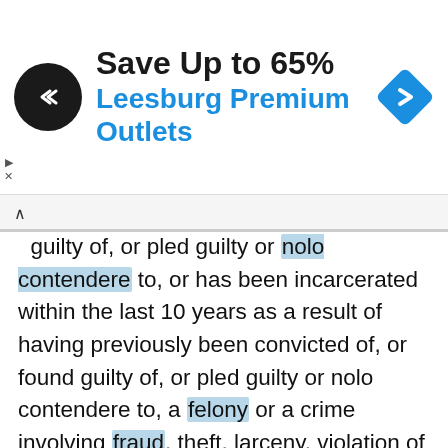[Figure (other): Advertisement banner: circular black logo with double-chevron icon, text 'Save Up to 65%' and 'Leesburg Premium Outlets' in blue, blue diamond navigation arrow icon on right]
guilty of, or pled guilty or nolo contendere to, or has been incarcerated within the last 10 years as a result of having previously been convicted of, or found guilty of, or pled guilty or nolo contendere to, a felony or a crime involving fraud, theft, larceny, violation of any franchise or business opportunity law or unfair or deceptive practices law, embezzlement, fraudulent conversion, misappropriation of property, or restraint of trade. (b)    Has, at any time during the previous 7 fiscal years, been held liable in a civil action resulting in a final judgment or has settled out of court any civil action or is a party to any civil action involving allegations of fraud